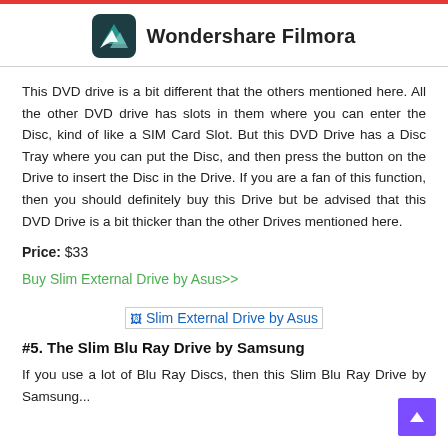Wondershare Filmora
This DVD drive is a bit different that the others mentioned here. All the other DVD drive has slots in them where you can enter the Disc, kind of like a SIM Card Slot. But this DVD Drive has a Disc Tray where you can put the Disc, and then press the button on the Drive to insert the Disc in the Drive. If you are a fan of this function, then you should definitely buy this Drive but be advised that this DVD Drive is a bit thicker than the other Drives mentioned here.
Price: $33
Buy Slim External Drive by Asus>>
[Figure (other): Slim External Drive by Asus product image placeholder]
#5. The Slim Blu Ray Drive by Samsung
If you use a lot of Blu Ray Discs, then this Slim Blu Ray Drive by Samsung...